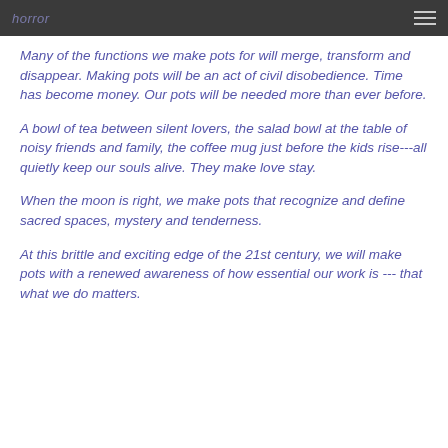horror
Many of the functions we make pots for will merge, transform and disappear. Making pots will be an act of civil disobedience. Time has become money. Our pots will be needed more than ever before.
A bowl of tea between silent lovers, the salad bowl at the table of noisy friends and family, the coffee mug just before the kids rise---all quietly keep our souls alive. They make love stay.
When the moon is right, we make pots that recognize and define sacred spaces, mystery and tenderness.
At this brittle and exciting edge of the 21st century, we will make pots with a renewed awareness of how essential our work is --- that what we do matters.